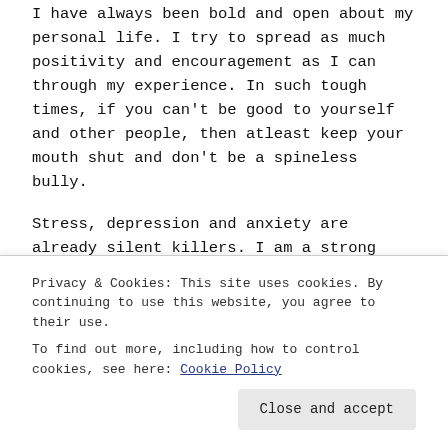I have always been bold and open about my personal life. I try to spread as much positivity and encouragement as I can through my experience. In such tough times, if you can't be good to yourself and other people, then atleast keep your mouth shut and don't be a spineless bully.
Stress, depression and anxiety are already silent killers. I am a strong person and I can hit back. But many have committed suicide because of bullies. When the mindset is already in fear because of the pandemic, why create more chaos. When a marriage is breaking, why blame only the other woman? Your husband opened that space
Privacy & Cookies: This site uses cookies. By continuing to use this website, you agree to their use.
To find out more, including how to control cookies, see here: Cookie Policy
doesn't mean I am lonely, desperate and available. No